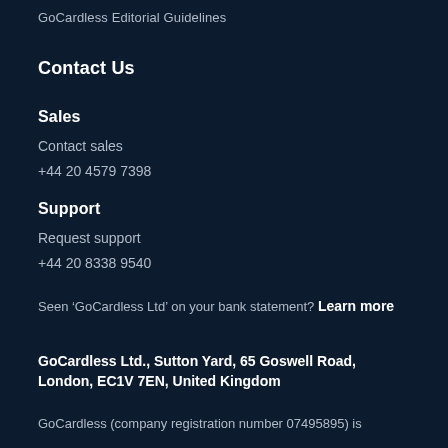GoCardless Editorial Guidelines
Contact Us
Sales
Contact sales
+44 20 4579 7398
Support
Request support
+44 20 8338 9540
Seen ‘GoCardless Ltd’ on your bank statement? Learn more
GoCardless Ltd., Sutton Yard, 65 Goswell Road, London, EC1V 7EN, United Kingdom
GoCardless (company registration number 07495895) is